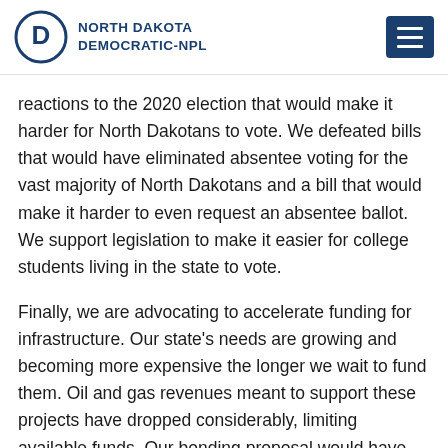NORTH DAKOTA DEMOCRATIC-NPL
reactions to the 2020 election that would make it harder for North Dakotans to vote. We defeated bills that would have eliminated absentee voting for the vast majority of North Dakotans and a bill that would make it harder to even request an absentee ballot. We support legislation to make it easier for college students living in the state to vote.
Finally, we are advocating to accelerate funding for infrastructure. Our state’s needs are growing and becoming more expensive the longer we wait to fund them. Oil and gas revenues meant to support these projects have dropped considerably, limiting available funds. Our bonding proposal would have supported